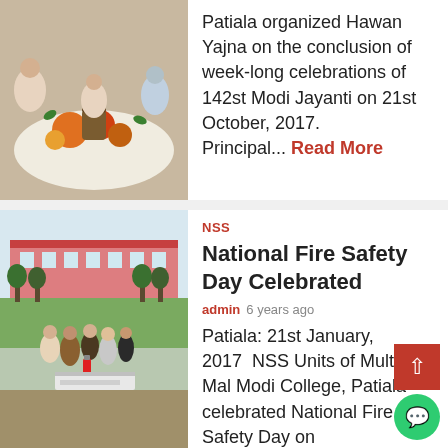[Figure (photo): People performing Hawan Yajna ceremony, sitting around ritual fire with flowers and offerings on a white cloth]
Patiala organized Hawan Yajna on the conclusion of week-long celebrations of 142st Modi Jayanti on 21st October, 2017. Principal... Read More
[Figure (photo): Outdoor photo at a college ground, showing a group of people including students and faculty participating in National Fire Safety Day demonstration with fire extinguishers]
NSS
National Fire Safety Day Celebrated
admin  6 years ago
Patiala: 21st January, 2017   NSS Units of Multani Mal Modi College, Patiala celebrated National Fire Safety Day on